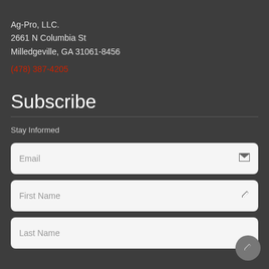Ag-Pro, LLC.
2661 N Columbia St
Milledgeville, GA 31061-8456
(478) 387-4205
Subscribe
Stay Informed
Email
First Name
Last Name